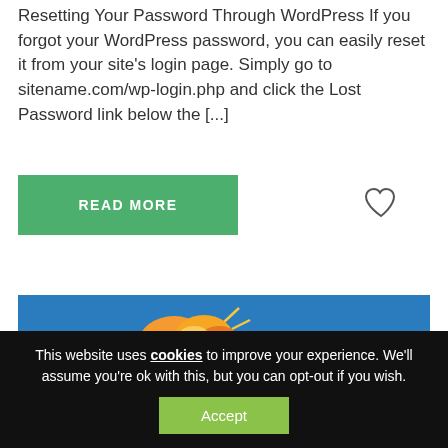Resetting Your Password Through WordPress If you forgot your WordPress password, you can easily reset it from your site's login page. Simply go to sitename.com/wp-login.php and click the Lost Password link below the [...]
[Figure (other): Green READ MORE button with heart/like icon to the right]
[Figure (logo): Cloudflare banner with orange cloud logo on blue background and CLOUDFLARE text]
This website uses cookies to improve your experience. We'll assume you're ok with this, but you can opt-out if you wish. Accept